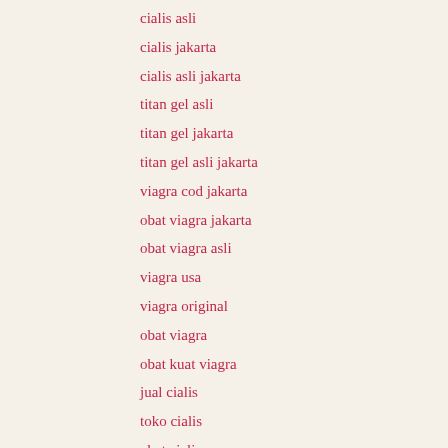cialis asli
cialis jakarta
cialis asli jakarta
titan gel asli
titan gel jakarta
titan gel asli jakarta
viagra cod jakarta
obat viagra jakarta
obat viagra asli
viagra usa
viagra original
obat viagra
obat kuat viagra
jual cialis
toko cialis
obat cialis
obat cialis asli
obat kuat cialis
obat cialis jakarta
toko cialis jakarta
jual cialis jakarta
agen cialis jakarta
toko titan gel